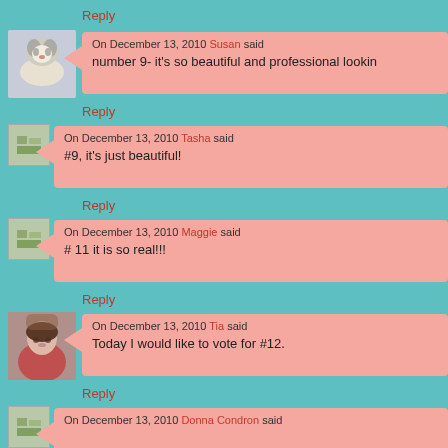Reply
On December 13, 2010 Susan said
number 9- it's so beautiful and professional lookin
Reply
On December 13, 2010 Tasha said
#9, it's just beautiful!
Reply
On December 13, 2010 Maggie said
# 11 it is so real!!!
Reply
On December 13, 2010 Tia said
Today I would like to vote for #12.
Reply
On December 13, 2010 Donna Condron said